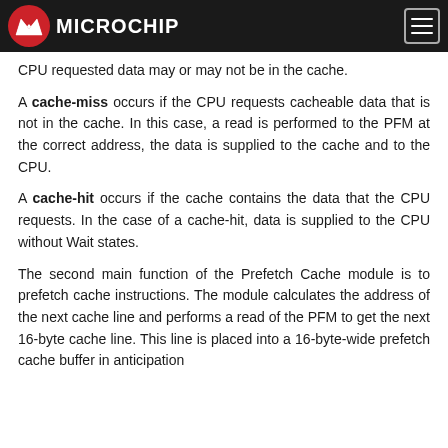Microchip
CPU requested data may or may not be in the cache.
A cache-miss occurs if the CPU requests cacheable data that is not in the cache. In this case, a read is performed to the PFM at the correct address, the data is supplied to the cache and to the CPU.
A cache-hit occurs if the cache contains the data that the CPU requests. In the case of a cache-hit, data is supplied to the CPU without Wait states.
The second main function of the Prefetch Cache module is to prefetch cache instructions. The module calculates the address of the next cache line and performs a read of the PFM to get the next 16-byte cache line. This line is placed into a 16-byte-wide prefetch cache buffer in anticipation